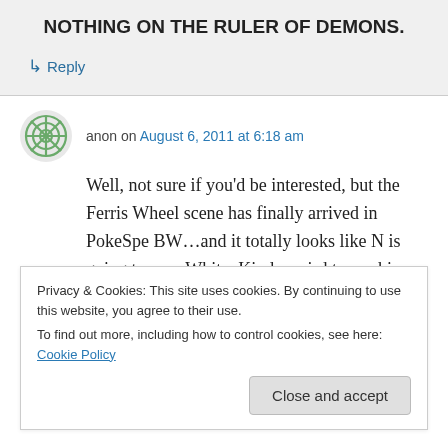NOTHING ON THE RULER OF DEMONS.
↳ Reply
anon on August 6, 2011 at 6:18 am
Well, not sure if you'd be interested, but the Ferris Wheel scene has finally arrived in PokeSpe BW…and it totally looks like N is going to rape White. Kinda weird to see him as a total creep after reading your adorable interpretation
Privacy & Cookies: This site uses cookies. By continuing to use this website, you agree to their use.
To find out more, including how to control cookies, see here: Cookie Policy
Close and accept